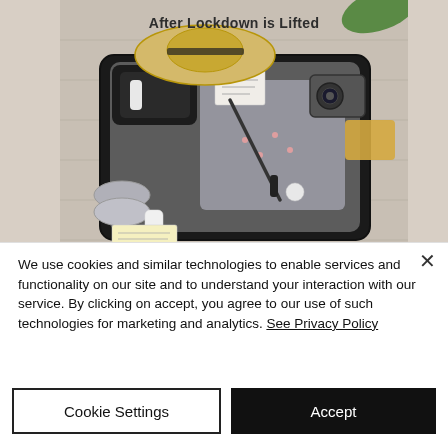[Figure (photo): Overhead photo of an open suitcase packed with travel items including a straw hat, camera, clothing, shoes, and travel accessories on a wooden floor. Title text 'After Lockdown is Lifted' overlaid at top.]
We use cookies and similar technologies to enable services and functionality on our site and to understand your interaction with our service. By clicking on accept, you agree to our use of such technologies for marketing and analytics. See Privacy Policy